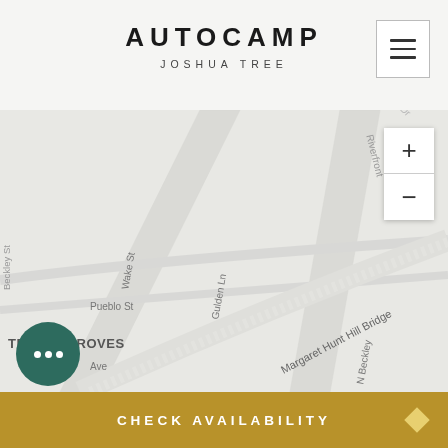AUTOCAMP JOSHUA TREE
[Figure (map): Street map showing Trinity Groves area with Margaret Hunt Hill Bridge, Gulden Ln, Wake St, Pueblo St, N Beckley Ave, Riverfront St, and surrounding streets in a light gray map style]
CHECK AVAILABILITY